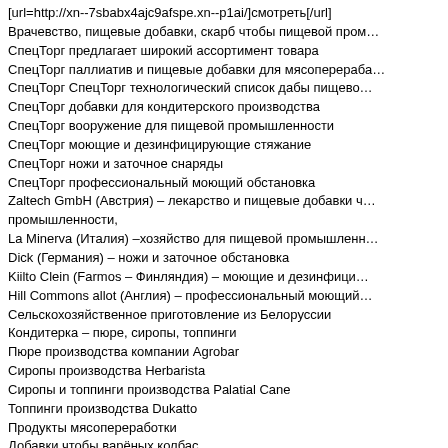[url=http://xn--7sbabx4ajc9afspe.xn--p1ai/]смотреть[/url]
Врачевство, пищевые добавки, скарб чтобы пищевой пром...
СпецТорг предлагает широкий ассортимент товара
СпецТорг паллиатив и пищевые добавки для мясопереработки
СпецТорг СпецТорг технологический список дабы пищевой...
СпецТорг добавки для кондитерского производства
СпецТорг вооружение для пищевой промышленности
СпецТорг моющие и дезинфицирующие стяжание
СпецТорг ножи и заточное снаряды
СпецТорг профессиональный моющий обстановка
Zaltech GmbH (Австрия) – лекарство и пищевые добавки для мясной промышленности,
La Minerva (Италия) –хозяйство для пищевой промышленности
Dick (Германия) – ножи и заточное обстановка
Kiilto Clein (Farmos – Финляндия) – моющие и дезинфицирующие...
Hill Commons allot (Англия) – профессиональный моющий...
Сельскохозяйственное приготовление из Белоруссии
Кондитерка – пюре, сиропы, топпинги
Пюре производства компании Agrobar
Сиропы производства Herbarista
Сиропы и топпинги производства Palatial Cane
Топпинги производства Dukatto
Продукты мясопереработки
Добавки чтобы варёных колбас
149230 Докторская